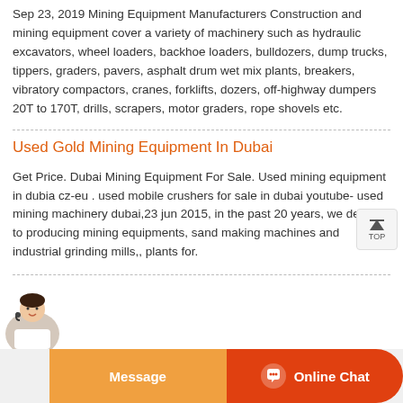Sep 23, 2019 Mining Equipment Manufacturers Construction and mining equipment cover a variety of machinery such as hydraulic excavators, wheel loaders, backhoe loaders, bulldozers, dump trucks, tippers, graders, pavers, asphalt drum wet mix plants, breakers, vibratory compactors, cranes, forklifts, dozers, off-highway dumpers 20T to 170T, drills, scrapers, motor graders, rope shovels etc.
Used Gold Mining Equipment In Dubai
Get Price. Dubai Mining Equipment For Sale. Used mining equipment in dubia cz-eu . used mobile crushers for sale in dubai youtube- used mining machinery dubai,23 jun 2015, in the past 20 years, we devote to producing mining equipments, sand making machines and industrial grinding mills,, plants for.